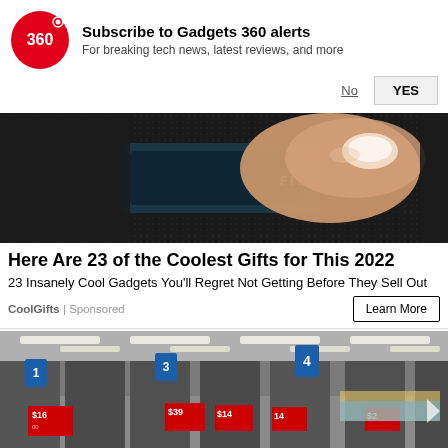Subscribe to Gadgets 360 alerts
For breaking tech news, latest reviews, and more
[Figure (photo): Close-up of a finger pressing a button on a dark fitness tracker or gadget with 'FIT.' text visible]
Here Are 23 of the Coolest Gifts for This 2022
23 Insanely Cool Gadgets You'll Regret Not Getting Before They Sell Out
CoolGifts | Sponsored
[Figure (photo): Interior of a Walmart store showing checkout lanes with price tags: $16, $39, $14, $14, $2]